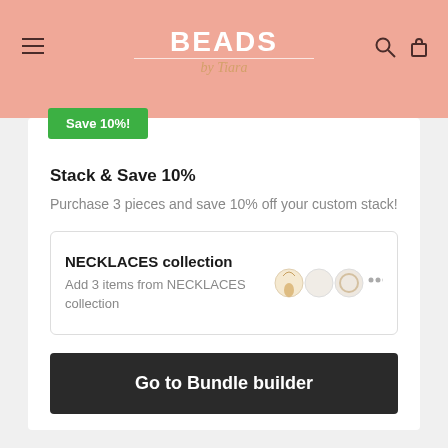BEADS by Tiara
[Figure (screenshot): Green Save 10% badge / button]
Stack & Save 10%
Purchase 3 pieces and save 10% off your custom stack!
NECKLACES collection
Add 3 items from NECKLACES collection
Go to Bundle builder